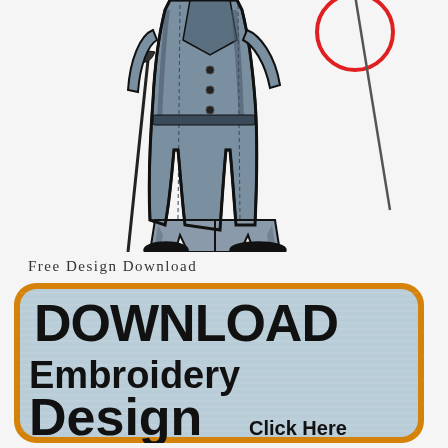[Figure (illustration): Partial embroidery design of a man in a long coat/trench coat with a cane or staff, shown from waist down. A red circle is visible in the upper right area of the illustration. The figure is rendered in dark navy/black and grey tones on a light background.]
Free Design Download
[Figure (other): A large rounded-corner button with an orange border and a light blue/grey brushed texture background. Text reads: DOWNLOAD Embroidery Design Click Here]